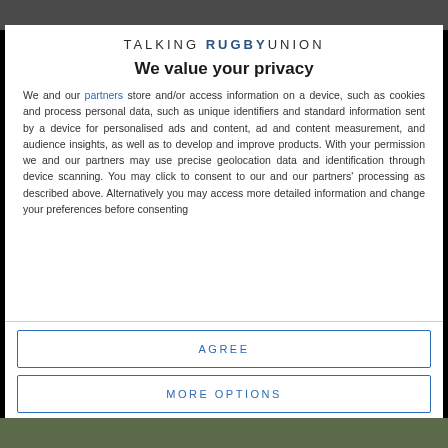[Figure (photo): Dark background image at top of page (partial rugby scene)]
TALKING RUGBY UNION
We value your privacy
We and our partners store and/or access information on a device, such as cookies and process personal data, such as unique identifiers and standard information sent by a device for personalised ads and content, ad and content measurement, and audience insights, as well as to develop and improve products. With your permission we and our partners may use precise geolocation data and identification through device scanning. You may click to consent to our and our partners' processing as described above. Alternatively you may access more detailed information and change your preferences before consenting
AGREE
MORE OPTIONS
[Figure (photo): Dark background image at bottom of page (partial rugby scene)]